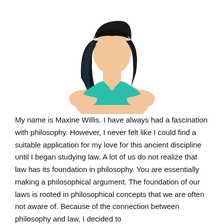[Figure (illustration): Flat vector illustration of a woman with short dark bob haircut and teal/turquoise top, shown from the shoulders up, no facial features depicted.]
My name is Maxine Willis. I have always had a fascination with philosophy. However, I never felt like I could find a suitable application for my love for this ancient discipline until I began studying law. A lot of us do not realize that law has its foundation in philosophy. You are essentially making a philosophical argument. The foundation of our laws is rooted in philosophical concepts that we are often not aware of. Because of the connection between philosophy and law, I decided to